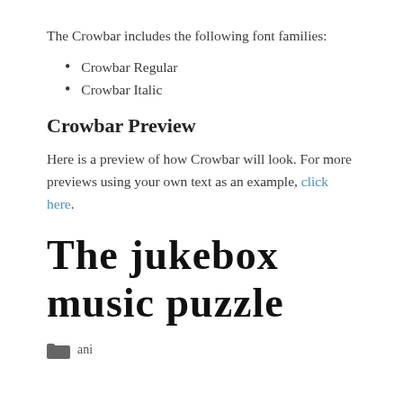The Crowbar includes the following font families:
Crowbar Regular
Crowbar Italic
Crowbar Preview
Here is a preview of how Crowbar will look. For more previews using your own text as an example, click here.
[Figure (other): Font preview text in Crowbar font: 'The jukebox music puzzle']
ani